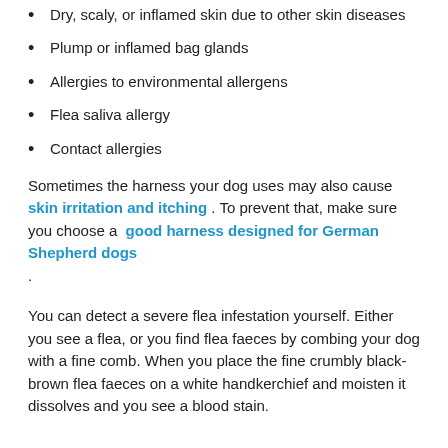Dry, scaly, or inflamed skin due to other skin diseases
Plump or inflamed bag glands
Allergies to environmental allergens
Flea saliva allergy
Contact allergies
Sometimes the harness your dog uses may also cause skin irritation and itching . To prevent that, make sure you choose a good harness designed for German Shepherd dogs .
You can detect a severe flea infestation yourself. Either you see a flea, or you find flea faeces by combing your dog with a fine comb. When you place the fine crumbly black-brown flea faeces on a white handkerchief and moisten it dissolves and you see a blood stain.